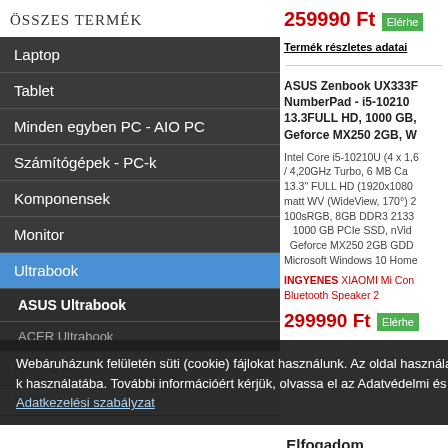259990 Ft
Elérhe
Termék részletes adatai
ASUS Zenbook UX333F NumberPad - i5-10210 13.3FULL HD, 1000 GB, Geforce MX250 2GB, W
Intel Core i5-10210U (4 x 1,6 / 4,20GHz Turbo, 6 MB Ca 13.3" FULL HD (1920x1080 matt WV (WideView, 170°) 2 100sRGB, 8GB DDR3 2133 1000 GB PCIe SSD, nVid Geforce MX250 2GB GDD Microsoft Windows 10 Home
INGYENES XIAOMI Mi Co Bluetooth Speaker 2
299990 Ft
Elérhe
Laptop
Tablet
Minden egyben PC - AIO PC
Számítógépek - PC-k
Komponensek
Monitor
Ultrabook
ASUS Ultrabook
ACER Ultrabook
Kiegészítők
Szoftver
Szolgáltatások
Webáruházunk felületén süti (cookie) fájlokat használunk. Az oldal használatával Ön beleegyezik a cookie-k használatába. További információért kérjük, olvassa el az Adatvédelmi és adatkezelési szabályzatunkat. Adatkezelési szabályzat
Elfogadom